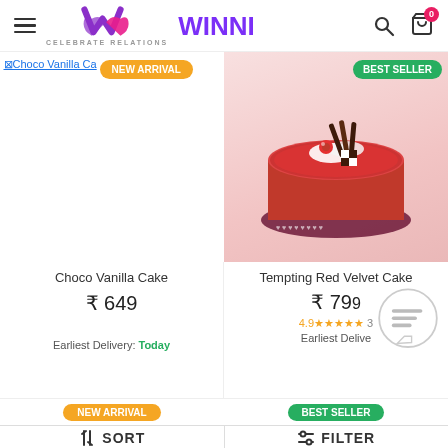WINNI CELEBRATE RELATIONS — navigation header with hamburger menu, search and cart icons
[Figure (screenshot): Broken image placeholder for Choco Vanilla Cake with NEW ARRIVAL badge]
[Figure (photo): Red velvet cake photo with BEST SELLER badge — round red velvet cake decorated with white chocolate curls and a cherry on a dark red base]
Choco Vanilla Cake
₹ 649
Earliest Delivery: Today
Tempting Red Velvet Cake
₹ 799
4.9 ★★★★★ 3
Earliest Delivery:
NEW ARRIVAL
BEST SELLER
SORT | FILTER